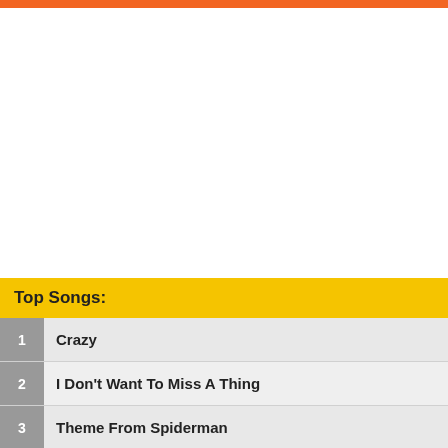Top Songs:
1 Crazy
2 I Don't Want To Miss A Thing
3 Theme From Spiderman
4 Janie's Got A Gun
5 Dream On
6 Jaded